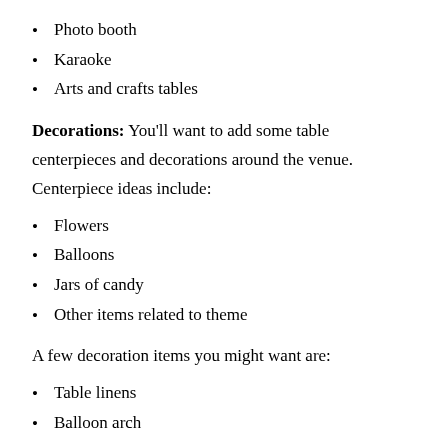Photo booth
Karaoke
Arts and crafts tables
Decorations: You'll want to add some table centerpieces and decorations around the venue. Centerpiece ideas include:
Flowers
Balloons
Jars of candy
Other items related to theme
A few decoration items you might want are:
Table linens
Balloon arch